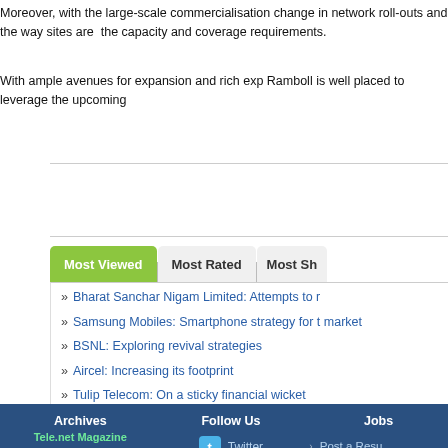Moreover, with the large-scale commercialisation change in network roll-outs and the way sites are the capacity and coverage requirements.
With ample avenues for expansion and rich exp Ramboll is well placed to leverage the upcoming
Bharat Sanchar Nigam Limited: Attempts to r
Samsung Mobiles: Smartphone strategy for t market
BSNL: Exploring revival strategies
Aircel: Increasing its footprint
Tulip Telecom: On a sticky financial wicket
Archives | Follow Us | Jobs | Tele.net Magazine | 2019 | 2018 | Twitter | LinkedIn | Post a Resume | Job Listings | Post a job